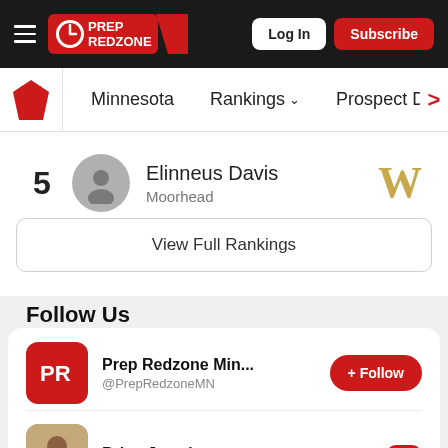Prep Redzone — Log In | Subscribe
Minnesota | Rankings | Prospect Database >
5  Elinneus Davis  Moorhead  W
View Full Rankings
Follow Us
Prep Redzone Min... @PrepRedzoneMN + Follow
Brian Jerzak + Follow